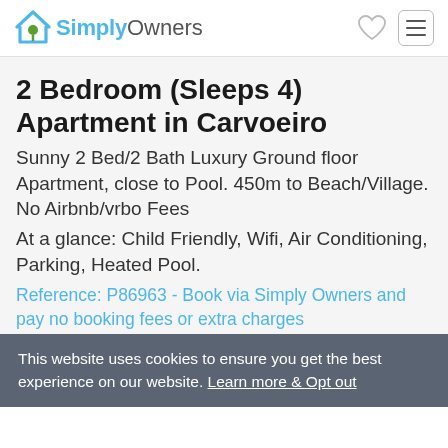SimplyOwners
2 Bedroom (Sleeps 4) Apartment in Carvoeiro
Sunny 2 Bed/2 Bath Luxury Ground floor Apartment, close to Pool. 450m to Beach/Village. No Airbnb/vrbo Fees
At a glance: Child Friendly, Wifi, Air Conditioning, Parking, Heated Pool.
Reference: P86963 - Book via Simply Owners and pay no booking fees or extra charges
This website uses cookies to ensure you get the best experience on our website. Learn more & Opt out